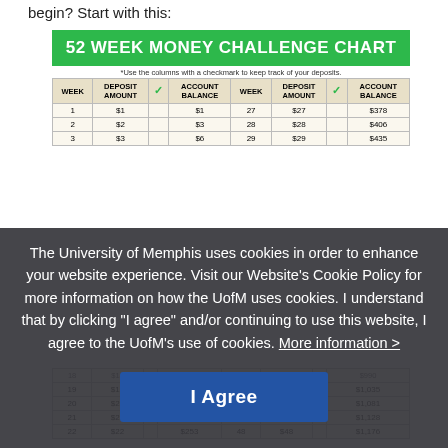begin? Start with this:
52 WEEK MONEY CHALLENGE CHART
*Use the columns with a checkmark to keep track of your deposits.
| WEEK | DEPOSIT AMOUNT | ✓ | ACCOUNT BALANCE | WEEK | DEPOSIT AMOUNT | ✓ | ACCOUNT BALANCE |
| --- | --- | --- | --- | --- | --- | --- | --- |
| 1 | $1 |  | $1 | 27 | $27 |  | $378 |
| 2 | $2 |  | $3 | 28 | $28 |  | $406 |
| 3 | $3 |  | $6 | 29 | $29 |  | $435 |
| 18 | $18 |  | $171 | 44 | $44 |  | $990 |
| 19 | $19 |  | $190 | 45 | $45 |  | $1,035 |
| 20 | $20 |  | $210 | 46 | $46 |  | $1,081 |
| 21 | $21 |  | $231 | 47 | $47 |  | $1,128 |
| 22 | $22 |  | $253 | 48 | $48 |  | $1,176 |
The University of Memphis uses cookies in order to enhance your website experience. Visit our Website's Cookie Policy for more information on how the UofM uses cookies. I understand that by clicking "I agree" and/or continuing to use this website, I agree to the UofM's use of cookies. More information >
I Agree